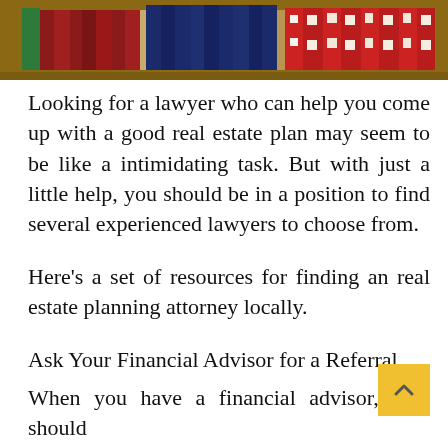[Figure (photo): Photograph of law books on a shelf, showing red, dark blue, and red/white patterned book spines arranged on wooden shelves.]
Looking for a lawyer who can help you come up with a good real estate plan may seem to be like a intimidating task. But with just a little help, you should be in a position to find several experienced lawyers to choose from.
Here’s a set of resources for finding an real estate planning attorney locally.
Ask Your Financial Advisor for a Referral
When you have a financial advisor, they should